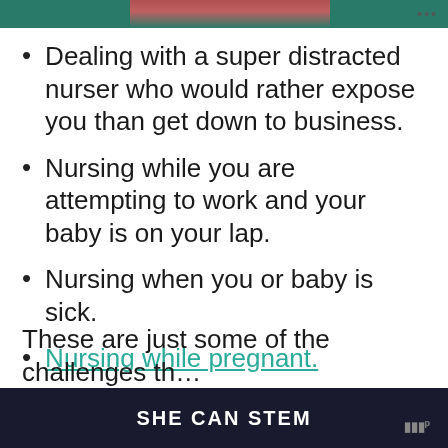[Figure (photo): Partial top image showing a person and green background with three-dot menu icon]
Dealing with a super distracted nurser who would rather expose you than get down to business.
Nursing while you are attempting to work and your baby is on your lap.
Nursing when you or baby is sick.
Nursing while pregnant.
Weaning.
These are just some of the challenges th...
SHE CAN STEM